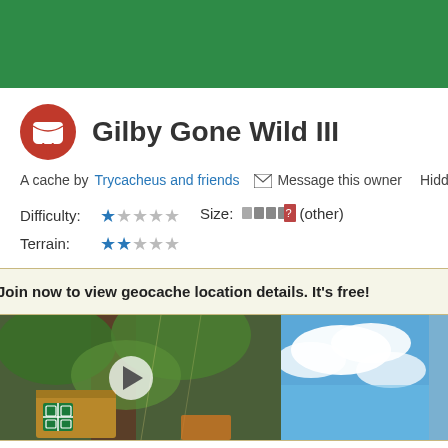[Figure (illustration): Green geocaching website header banner]
Gilby Gone Wild III
A cache by Trycacheus and friends  ✉ Message this owner  Hidden :
Difficulty: ★☆☆☆☆  Size: (other)
Terrain: ★★☆☆☆
Join now to view geocache location details. It's free!
[Figure (photo): Two outdoor photos: a wooden geocache box in forest on left, sky and clouds on right]